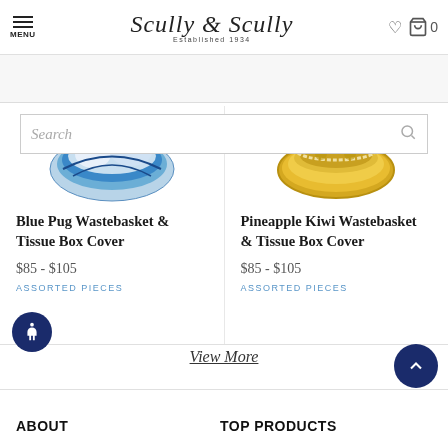MENU | Scully & Scully Established 1934 | heart icon | cart 0
Search
[Figure (photo): Blue Pug Wastebasket product image showing blue and white patterned round basket]
Blue Pug Wastebasket & Tissue Box Cover
$85 - $105
ASSORTED PIECES
[Figure (photo): Pineapple Kiwi Wastebasket product image showing yellow/gold decorative round basket]
Pineapple Kiwi Wastebasket & Tissue Box Cover
$85 - $105
ASSORTED PIECES
View More
ABOUT
TOP PRODUCTS